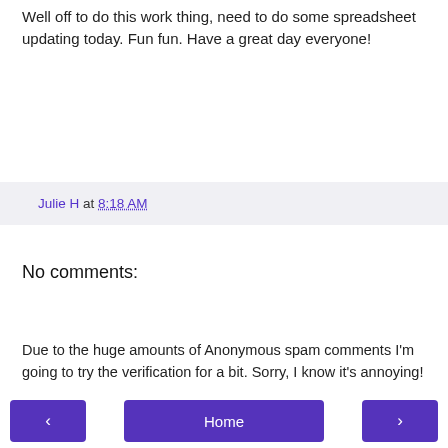Well off to do this work thing, need to do some spreadsheet updating today. Fun fun. Have a great day everyone!
Julie H at 8:18 AM
No comments:
Post a Comment
Due to the huge amounts of Anonymous spam comments I'm going to try the verification for a bit. Sorry, I know it's annoying!
◄  Home  ►